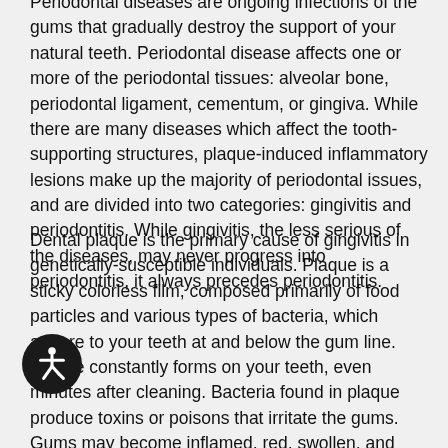Periodontal diseases are ongoing infections of the gums that gradually destroy the support of your natural teeth. Periodontal disease affects one or more of the periodontal tissues: alveolar bone, periodontal ligament, cementum, or gingiva. While there are many diseases which affect the tooth-supporting structures, plaque-induced inflammatory lesions make up the majority of periodontal issues, and are divided into two categories: gingivitis and periodontitis. While gingivitis, the less serious of the diseases, may never progress into periodontitis, it always precedes periodontitis.
Dental plaque is the primary cause of gingivitis in genetically-susceptible individuals. Plaque is a sticky colorless film, composed primarily of food particles and various types of bacteria, which adhere to your teeth at and below the gum line. Plaque constantly forms on your teeth, even minutes after cleaning. Bacteria found in plaque produce toxins or poisons that irritate the gums. Gums may become inflamed, red, swollen, and bleed easily. If this irritation is prolonged, the gums separate from the teeth causing pockets (spaces) to form. If daily brushing and flossing is neglected, plaque can also harden into a rough, porous substance known as calculus (or tartar). This can occur both above and below the gum line.